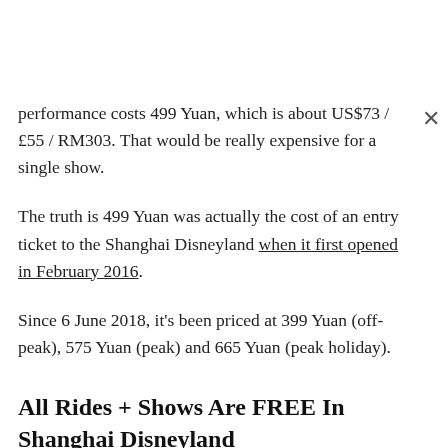performance costs 499 Yuan, which is about US$73 / £55 / RM303. That would be really expensive for a single show.
The truth is 499 Yuan was actually the cost of an entry ticket to the Shanghai Disneyland when it first opened in February 2016.
Since 6 June 2018, it's been priced at 399 Yuan (off-peak), 575 Yuan (peak) and 665 Yuan (peak holiday).
All Rides + Shows Are FREE In Shanghai Disneyland